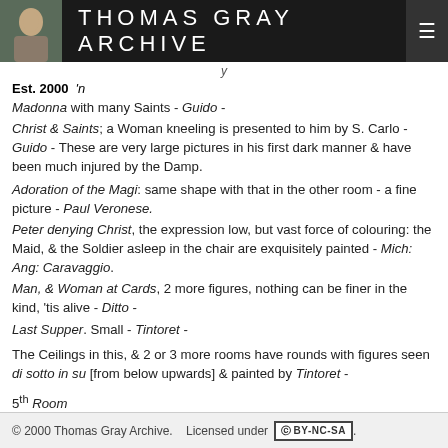THOMAS GRAY ARCHIVE
Est. 2000
Madonna with many Saints - Guido -
Christ & Saints; a Woman kneeling is presented to him by S. Carlo - Guido - These are very large pictures in his first dark manner & have been much injured by the Damp.
Adoration of the Magi: same shape with that in the other room - a fine picture - Paul Veronese.
Peter denying Christ, the expression low, but vast force of colouring: the Maid, & the Soldier asleep in the chair are exquisitely painted - Mich: Ang: Caravaggio.
Man, & Woman at Cards, 2 more figures, nothing can be finer in the kind, 'tis alive - Ditto -
Last Supper. Small - Tintoret -
The Ceilings in this, & 2 or 3 more rooms have rounds with figures seen di sotto in su [from below upwards] & painted by Tintoret -
5th Room
© 2000 Thomas Gray Archive. Licensed under CC BY-NC-SA.